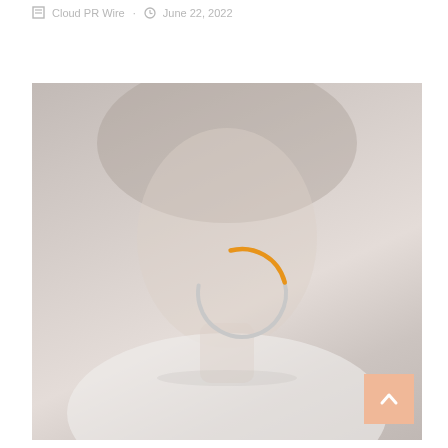Cloud PR Wire · June 22, 2022
[Figure (photo): A faded/washed-out photo of a smiling woman with short hair wearing a white coat and pearl necklace. Overlaid is a loading spinner (donut/arc) in gray and orange, indicating an image loading state.]
[Figure (other): Orange scroll-to-top arrow button in the bottom-right corner of the image area.]